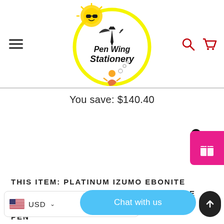[Figure (logo): Pen Wing Stationery logo with yellow circle, cartoon sun with sunglasses, ink pen with wings, and a meditation girl]
You save: $140.40
[Figure (other): Pink gift reward button with gift box icon and badge showing '1']
THIS ITEM: PLATINUM IZUMO EBONITE LARGE YAKUMONURI TOGIDASHI MAKI-E YAKUMO" 18K GOLD ... PEN
[Figure (other): Currency selector showing USD with US flag, and chat with us button in blue, and scroll up button]